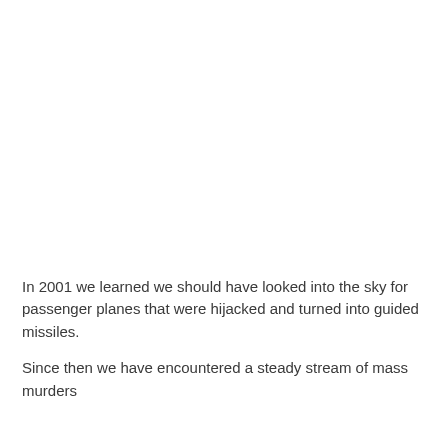In 2001 we learned we should have looked into the sky for passenger planes that were hijacked and turned into guided missiles.
Since then we have encountered a steady stream of mass murders